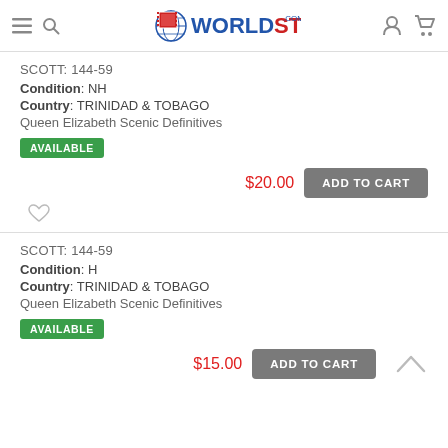WorldStamps.com
SCOTT: 144-59
Condition: NH
Country: TRINIDAD & TOBAGO
Queen Elizabeth Scenic Definitives
AVAILABLE
$20.00  ADD TO CART
SCOTT: 144-59
Condition: H
Country: TRINIDAD & TOBAGO
Queen Elizabeth Scenic Definitives
AVAILABLE
$15.00  ADD TO CART